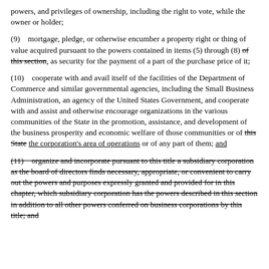powers, and privileges of ownership, including the right to vote, while the owner or holder;
(9)    mortgage, pledge, or otherwise encumber a property right or thing of value acquired pursuant to the powers contained in items (5) through (8) [strikethrough: of this section], as security for the payment of a part of the purchase price of it;
(10)    cooperate with and avail itself of the facilities of the Department of Commerce and similar governmental agencies, including the Small Business Administration, an agency of the United States Government, and cooperate with and assist and otherwise encourage organizations in the various communities of the State in the promotion, assistance, and development of the business prosperity and economic welfare of those communities or of [strikethrough: this State] [underline: the corporation's area of operations] or of any part of them; [underline: and]
(11)    [strikethrough: organize and incorporate pursuant to this title a subsidiary corporation as the board of directors finds necessary, appropriate, or convenient to carry out the powers and purposes expressly granted and provided for in this chapter, which subsidiary corporation has the powers described in this section in addition to all other powers conferred on business corporations by this title; and]